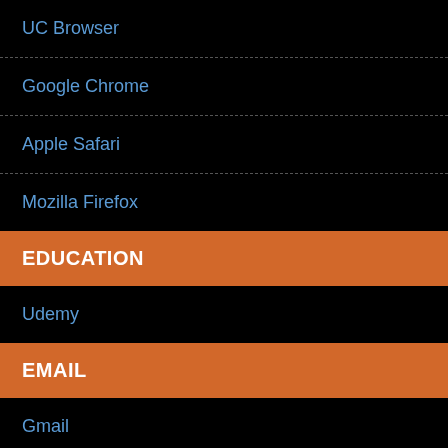UC Browser
Google Chrome
Apple Safari
Mozilla Firefox
EDUCATION
Udemy
EMAIL
Gmail
SBCglobal